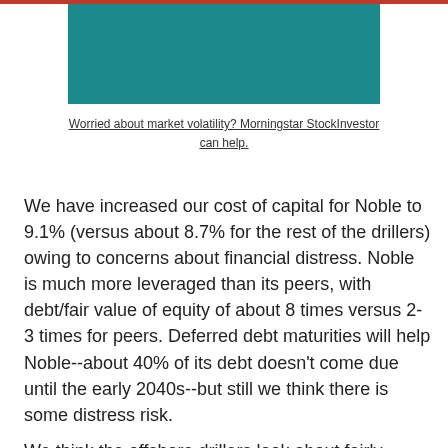[Figure (photo): Teal/dark cyan colored rectangular image block at the top center of the page]
Worried about market volatility? Morningstar StockInvestor can help.
We have increased our cost of capital for Noble to 9.1% (versus about 8.7% for the rest of the drillers) owing to concerns about financial distress. Noble is much more leveraged than its peers, with debt/fair value of equity of about 8 times versus 2-3 times for peers. Deferred debt maturities will help Noble--about 40% of its debt doesn't come due until the early 2040s--but still we think there is some distress risk.
We think the offshore drillers look about fairly valued as a